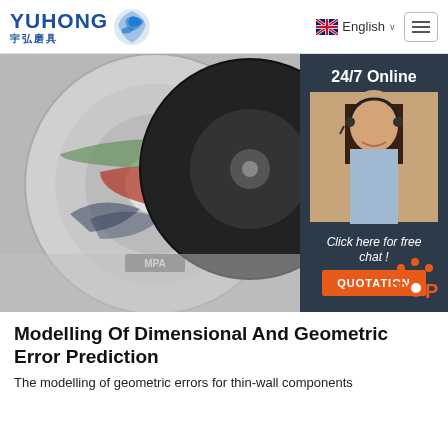[Figure (logo): Yuhong 宇弘磨具 logo with blue wave/shark icon, company name in blue]
[Figure (photo): Product photo of abrasive cutting discs including a disc with shark/MPA branding, with a customer service chat panel overlay showing '24/7 Online', a female agent with headset, 'Click here for free chat!' text, and an orange QUOTATION button. A 'TOP' badge is visible at bottom right.]
Modelling Of Dimensional And Geometric Error Prediction
The modelling of geometric errors for thin-wall components